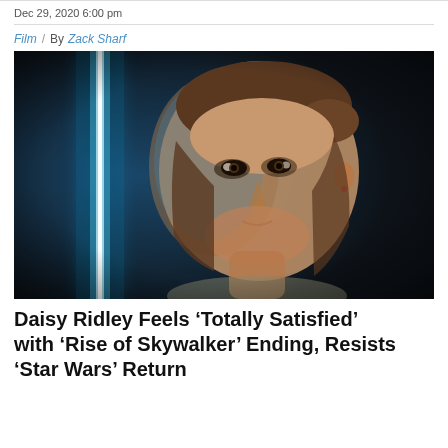Dec 29, 2020 6:00 pm
Film / By Zack Sharf
[Figure (photo): Close-up of a young woman (Daisy Ridley as Rey) with a blue lightsaber glowing to her left, against a dark background. Film still from Star Wars: The Rise of Skywalker.]
Daisy Ridley Feels ‘Totally Satisfied’ with ‘Rise of Skywalker’ Ending, Resists ‘Star Wars’ Return